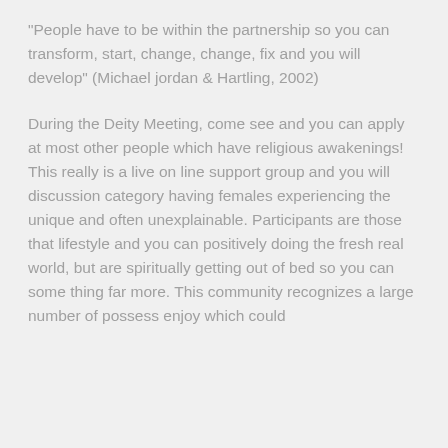“People have to be within the partnership so you can transform, start, change, change, fix and you will develop” (Michael jordan & Hartling, 2002)
During the Deity Meeting, come see and you can apply at most other people which have religious awakenings! This really is a live on line support group and you will discussion category having females experiencing the unique and often unexplainable. Participants are those that lifestyle and you can positively doing the fresh real world, but are spiritually getting out of bed so you can some thing far more. This community recognizes a large number of possess enjoy which could